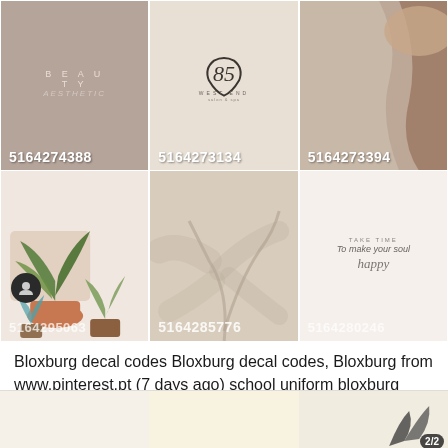[Figure (screenshot): 3x2 grid of aesthetic Bloxburg decal images with codes: 5164274388, 5164273134, 5164273394, partially visible codes in row 2 including 5164285776]
Bloxburg decal codes Bloxburg decal codes, Bloxburg from www.pinterest.pt (7 days ago) school uniform bloxburg codes. Bloxburg aesthetic blue outfit code coding roblox codes decal design. If you do, you can find them here.
[Figure (screenshot): Bottom preview strip showing 3 partial thumbnail images, last one has badge 2/2]